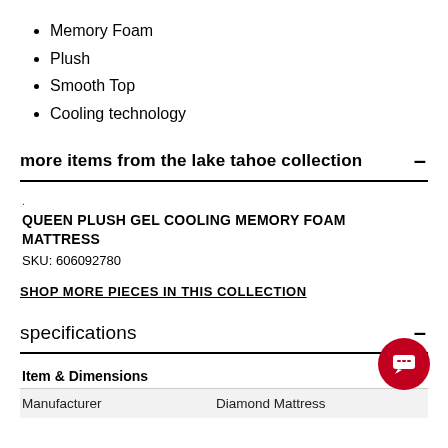Memory Foam
Plush
Smooth Top
Cooling technology
more items from the lake tahoe collection  –
QUEEN PLUSH GEL COOLING MEMORY FOAM MATTRESS
SKU: 606092780
SHOP MORE PIECES IN THIS COLLECTION
specifications  –
Item & Dimensions
| Manufacturer | Diamond Mattress |
| --- | --- |